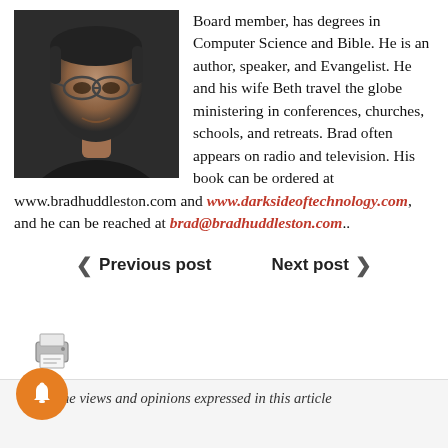[Figure (photo): Headshot of a man wearing glasses, dark background]
Board member, has degrees in Computer Science and Bible. He is an author, speaker, and Evangelist. He and his wife Beth travel the globe ministering in conferences, churches, schools, and retreats. Brad often appears on radio and television. His book can be ordered at www.bradhuddleston.com and www.darksideoftechnology.com, and he can be reached at brad@bradhuddleston.com..
Previous post   Next post
[Figure (illustration): Printer/document icon]
The views and opinions expressed in this article